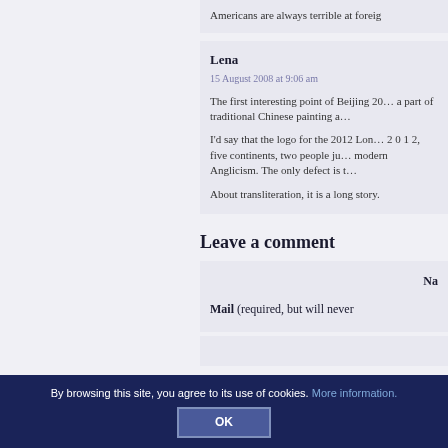Americans are always terrible at foreign…
Lena
15 August 2008 at 9:06 am

The first interesting point of Beijing 20… a part of traditional Chinese painting a…

I'd say that the logo for the 2012 Lon… 2 0 1 2, five continents, two people ju… modern Anglicism. The only defect is t…

About transliteration, it is a long story.
Leave a comment
Na…
Mail (required, but will never…
By browsing this site, you agree to its use of cookies. More information.
OK